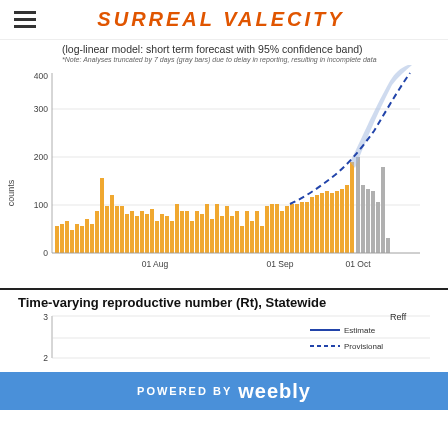SURREAL VALECITY
[Figure (bar-chart): Bar chart showing COVID case counts over time from roughly July to October, with orange bars for confirmed data and gray bars for provisional data (last 7 days), plus a dashed blue forecast curve with confidence band. Y-axis: counts 0-400. X-axis: 01 Aug, 01 Sep, 01 Oct.]
[Figure (line-chart): Rt chart showing Reff over time with Estimate (solid blue line) and Provisional (dashed blue line) legend entries. Y-axis shows 2 and 3.]
POWERED BY weebly